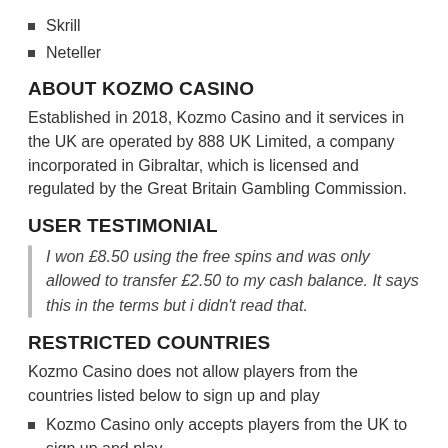Skrill
Neteller
ABOUT KOZMO CASINO
Established in 2018, Kozmo Casino and it services in the UK are operated by 888 UK Limited, a company incorporated in Gibraltar, which is licensed and regulated by the Great Britain Gambling Commission.
USER TESTIMONIAL
I won £8.50 using the free spins and was only allowed to transfer £2.50 to my cash balance. It says this in the terms but i didn't read that.
RESTRICTED COUNTRIES
Kozmo Casino does not allow players from the countries listed below to sign up and play
Kozmo Casino only accepts players from the UK to sign up and play